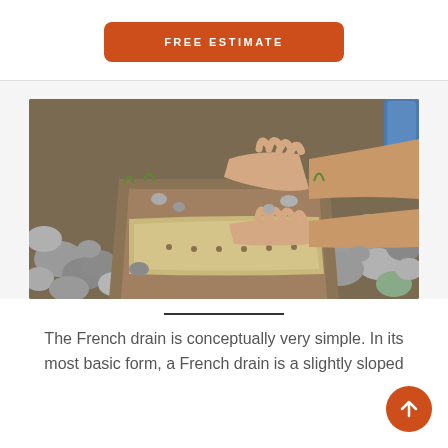FREE ESTIMATE
[Figure (photo): Person's hands working with a perforated drainage pipe surrounded by gravel and rocks in a trench — a French drain installation.]
The French drain is conceptually very simple. In its most basic form, a French drain is a slightly sloped